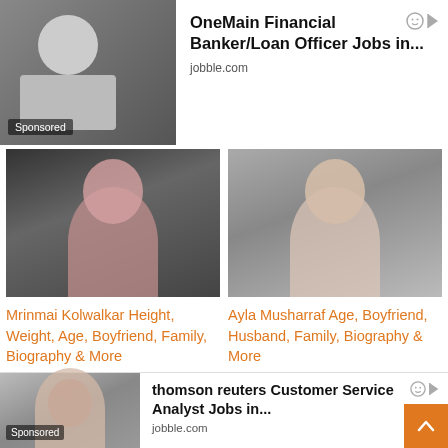[Figure (infographic): Sponsored ad for OneMain Financial Banker/Loan Officer Jobs with a photo of a person and 'Sponsored' label]
OneMain Financial Banker/Loan Officer Jobs in...
jobble.com
[Figure (photo): Photo of Mrinmai Kolwalkar]
Mrinmai Kolwalkar Height, Weight, Age, Boyfriend, Family, Biography & More
[Figure (photo): Photo of Ayla Musharraf]
Ayla Musharraf Age, Boyfriend, Husband, Family, Biography & More
[Figure (photo): Photo of Soham (partial name visible)]
Soham Girlfriend (partial)
[Figure (photo): Promotional image for &tv show with Hindi text, 27 August date]
[Figure (infographic): Sponsored ad for thomson reuters Customer Service Analyst Jobs with photo and Sponsored label]
thomson reuters Customer Service Analyst Jobs in...
jobble.com